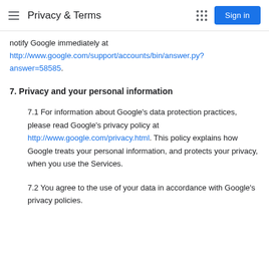Privacy & Terms
notify Google immediately at http://www.google.com/support/accounts/bin/answer.py?answer=58585.
7. Privacy and your personal information
7.1 For information about Google's data protection practices, please read Google's privacy policy at http://www.google.com/privacy.html. This policy explains how Google treats your personal information, and protects your privacy, when you use the Services.
7.2 You agree to the use of your data in accordance with Google's privacy policies.